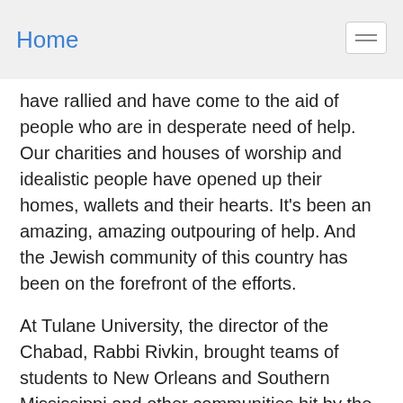Home
have rallied and have come to the aid of people who are in desperate need of help. Our charities and houses of worship and idealistic people have opened up their homes, wallets and their hearts. It's been an amazing, amazing outpouring of help. And the Jewish community of this country has been on the forefront of the efforts.
At Tulane University, the director of the Chabad, Rabbi Rivkin, brought teams of students to New Orleans and Southern Mississippi and other communities hit by the storm. He called in folks to help. He didn't say, head away from the storm, he said, let's take it right to the middle of the storm area to help people. They